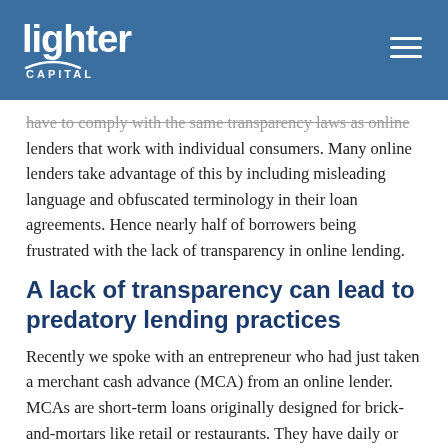Lighter Capital
have to comply with the same transparency laws as online lenders that work with individual consumers. Many online lenders take advantage of this by including misleading language and obfuscated terminology in their loan agreements. Hence nearly half of borrowers being frustrated with the lack of transparency in online lending.
A lack of transparency can lead to predatory lending practices
Recently we spoke with an entrepreneur who had just taken a merchant cash advance (MCA) from an online lender. MCAs are short-term loans originally designed for brick-and-mortars like retail or restaurants. They have daily or weekly payments and are priced with a factor rate rather than an APR (similar to the repayment caps we use at Lighter Capital). Comparing a MCA with a factor rate to a